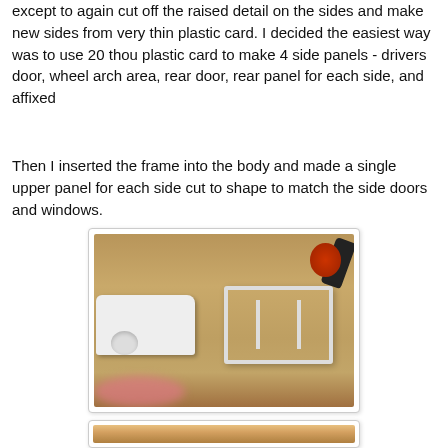except to again cut off the raised detail on the sides and make new sides from very thin plastic card. I decided the easiest way was to use 20 thou plastic card to make 4 side panels - drivers door, wheel arch area, rear door, rear panel for each side, and affixed
Then I inserted the frame into the body and made a single upper panel for each side cut to shape to match the side doors and windows.
[Figure (photo): Photograph of a model car body (white) and a white structural frame/chassis sitting on a wooden workbench surface, with red-handled tools visible in the background and a pink blur at bottom left.]
[Figure (photo): Partially visible photograph at bottom of page, showing what appears to be another model building stage on a similar workbench surface.]